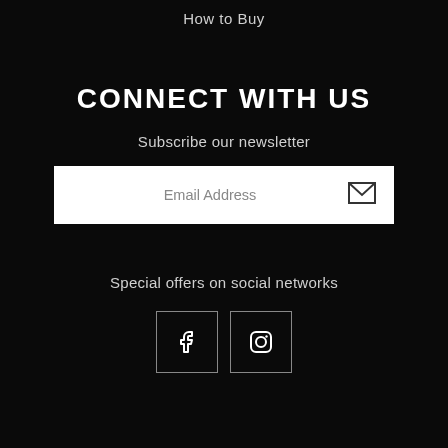How to Buy
CONNECT WITH US
Subscribe our newsletter
Email Address
Special offers on social networks
[Figure (illustration): Facebook and Instagram social media icons in outlined square boxes]